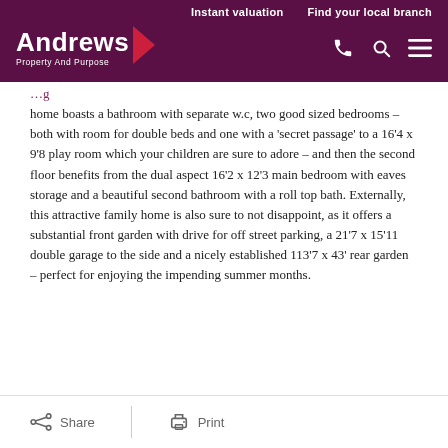Andrews Property And Purpose | Instant valuation | Find your local branch
home boasts a bathroom with separate w.c, two good sized bedrooms – both with room for double beds and one with a 'secret passage' to a 16'4 x 9'8 play room which your children are sure to adore – and then the second floor benefits from the dual aspect 16'2 x 12'3 main bedroom with eaves storage and a beautiful second bathroom with a roll top bath. Externally, this attractive family home is also sure to not disappoint, as it offers a substantial front garden with drive for off street parking, a 21'7 x 15'11 double garage to the side and a nicely established 113'7 x 43' rear garden – perfect for enjoying the impending summer months.
Share | Print